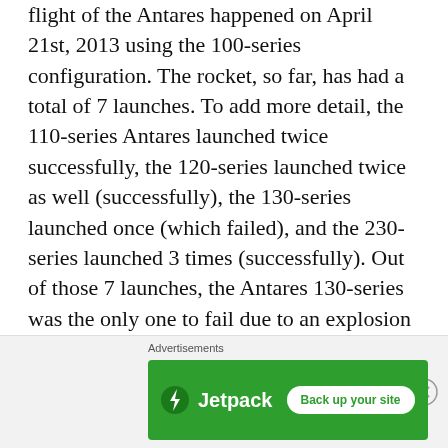flight of the Antares happened on April 21st, 2013 using the 100-series configuration. The rocket, so far, has had a total of 7 launches. To add more detail, the 110-series Antares launched twice successfully, the 120-series launched twice as well (successfully), the 130-series launched once (which failed), and the 230-series launched 3 times (successfully). Out of those 7 launches, the Antares 130-series was the only one to fail due to an explosion in the liquid oxygen turbopump in one of the engines in the launch vehicles first stage. Furthermore, the Antares, depending on the series, stands between 40.5 and 42.5 meters long (133-139 feet). The diameter of the launch vehicle stays consistent at 3.9 meters (13.9 feet). Moreover, the
[Figure (other): Jetpack advertisement banner with green background, Jetpack logo (lightning bolt icon and 'Jetpack' text in white), and a 'Back up your site' button in white. An X close button appears in the top right.]